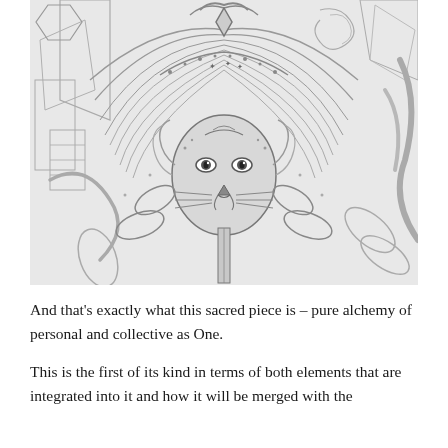[Figure (illustration): A detailed pencil drawing of a mystical, sacred creature — a lion or cat-like face at the center surrounded by elaborate feathers, geometric shapes, leaves, and decorative patterns. The style is symmetrical and mandala-like, with intricate line work in graphite on white paper.]
And that's exactly what this sacred piece is – pure alchemy of personal and collective as One.
This is the first of its kind in terms of both elements that are integrated into it and how it will be merged with the